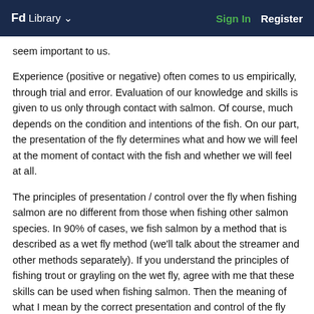Fd Library   Sign In   Register
seem important to us.
Experience (positive or negative) often comes to us empirically, through trial and error. Evaluation of our knowledge and skills is given to us only through contact with salmon. Of course, much depends on the condition and intentions of the fish. On our part, the presentation of the fly determines what and how we will feel at the moment of contact with the fish and whether we will feel at all.
The principles of presentation / control over the fly when fishing salmon are no different from those when fishing other salmon species. In 90% of cases, we fish salmon by a method that is described as a wet fly method (we'll talk about the streamer and other methods separately). If you understand the principles of fishing trout or grayling on the wet fly, agree with me that these skills can be used when fishing salmon. Then the meaning of what I mean by the correct presentation and control of the fly will be understood. You can use all the known versions of classic or aggressive wet flies. They are, as a rule, quite effective in any conditions when fishing salmon. And salmon reaction is similar